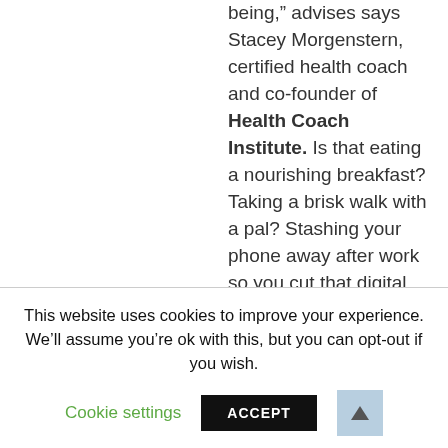being,” advises says Stacey Morgenstern, certified health coach and co-founder of Health Coach Institute. Is that eating a nourishing breakfast? Taking a brisk walk with a pal? Stashing your phone away after work so you cut that digital cord? “Drastic changes won’t last, and you’ll set yourself up for self-bullying or failure,” she says. “It’s the mini habits that make a big, positive impact over time.”
To get our best wellness tips delivered to you inbox, sign up for the Healthy Living newsletter
This website uses cookies to improve your experience. We’ll assume you’re ok with this, but you can opt-out if you wish.